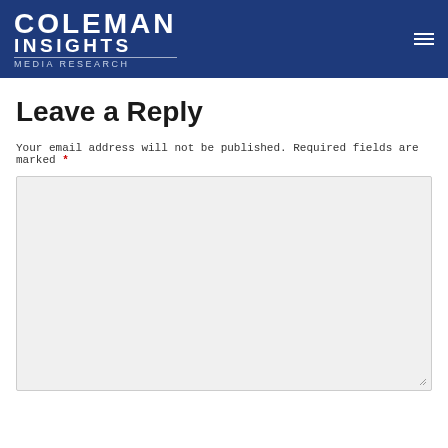[Figure (logo): Coleman Insights Media Research logo — white text on dark blue background with hamburger menu icon on the right]
Leave a Reply
Your email address will not be published. Required fields are marked *
[Figure (screenshot): Large light-gray comment text area input box with resize handle in the bottom-right corner]